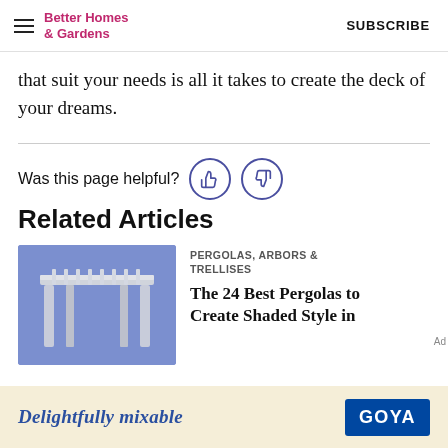Better Homes & Gardens | SUBSCRIBE
that suit your needs is all it takes to create the deck of your dreams.
Was this page helpful?
Related Articles
PERGOLAS, ARBORS & TRELLISES
The 24 Best Pergolas to Create Shaded Style in
[Figure (photo): White pergola structure against a blue/purple background]
Delightfully mixable